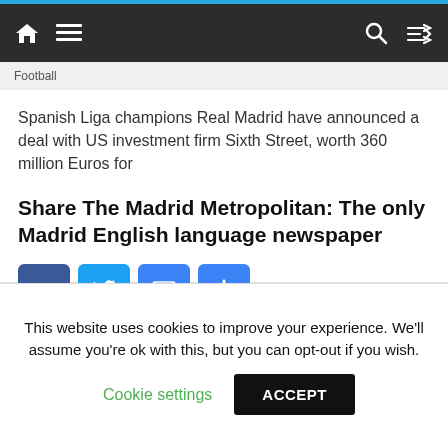Navigation bar with home, menu, search, and shuffle icons
Football
Spanish Liga champions Real Madrid have announced a deal with US investment firm Sixth Street, worth 360 million Euros for
Share The Madrid Metropolitan: The only Madrid English language newspaper
[Figure (infographic): Social share buttons: Facebook, Twitter, Email, and More (+)]
Read more
This website uses cookies to improve your experience. We'll assume you're ok with this, but you can opt-out if you wish.
Cookie settings   ACCEPT